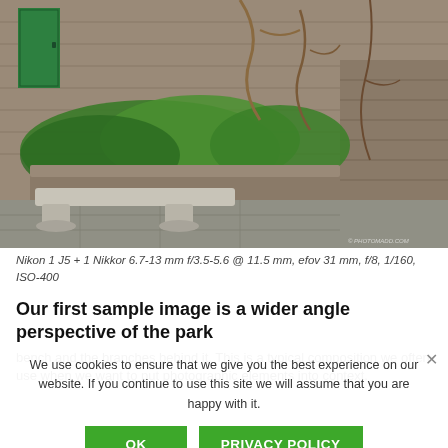[Figure (photo): Outdoor garden scene with a stone bench in foreground, raised stone planter with green plants and shrubs behind it, stone wall with climbing branches in background, green door visible on left side, stone tile floor.]
Nikon 1 J5 + 1 Nikkor 6.7-13 mm f/3.5-5.6 @ 11.5 mm, efov 31 mm, f/8, 1/160, ISO-400
Our first sample image is a wider angle perspective of the park bench and the branches behind it. This is a typical composition we often use when we want to put photographic elements into context.
We use cookies to ensure that we give you the best experience on our website. If you continue to use this site we will assume that you are happy with it.
OK    PRIVACY POLICY